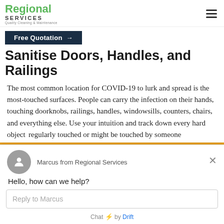[Figure (logo): Regional Services logo with green 'Regional' text and grey 'SERVICES' subtitle and tagline 'Quality Cleaning & Maintenance']
Free Quotation →
Sanitise Doors, Handles, and Railings
The most common location for COVID-19 to lurk and spread is the most-touched surfaces. People can carry the infection on their hands, touching doorknobs, railings, handles, windowsills, counters, chairs, and everything else. Use your intuition and track down every hard object that's regularly touched or might be touched by someone
Marcus from Regional Services
Hello, how can we help?
Reply to Marcus
Chat ⚡ by Drift